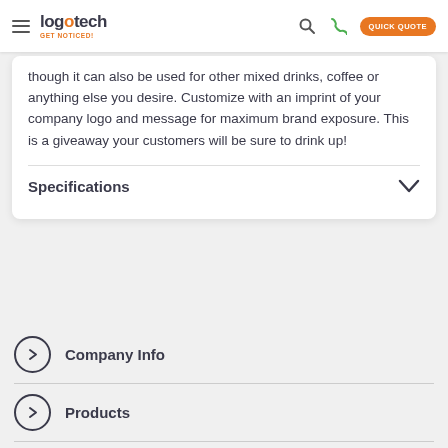logotech GET NOTICED! [navigation: search, phone, QUICK QUOTE]
though it can also be used for other mixed drinks, coffee or anything else you desire. Customize with an imprint of your company logo and message for maximum brand exposure. This is a giveaway your customers will be sure to drink up!
Specifications
Company Info
Products